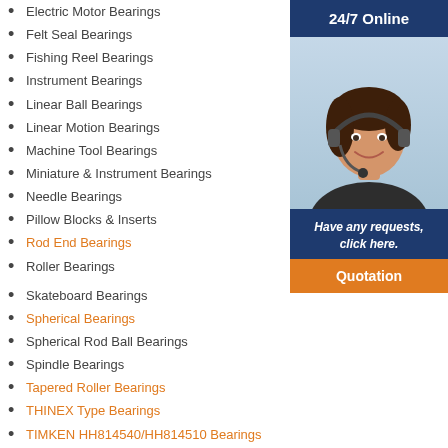Electric Motor Bearings
Felt Seal Bearings
Fishing Reel Bearings
Instrument Bearings
Linear Ball Bearings
Linear Motion Bearings
Machine Tool Bearings
Miniature & Instrument Bearings
Needle Bearings
Pillow Blocks & Inserts
Rod End Bearings
Roller Bearings
Skateboard Bearings
Spherical Bearings
Spherical Rod Ball Bearings
Spindle Bearings
Tapered Roller Bearings
THINEX Type Bearings
TIMKEN HH814540/HH814510 Bearings
SKF NU 221 ECML Bearings
FAC ABRANGL+BAR400-35KG B...
[Figure (photo): Customer service woman with headset smiling, with 24/7 Online banner and Quotation button sidebar]
24/7 Online
Have any requests, click here.
Quotation